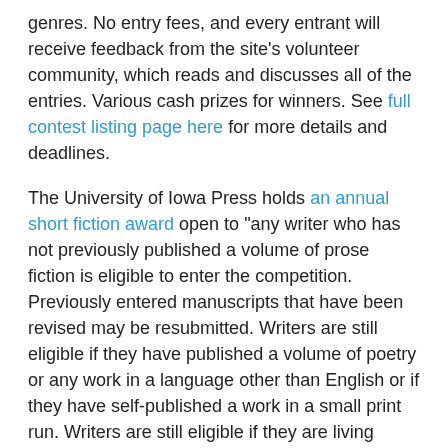genres. No entry fees, and every entrant will receive feedback from the site's volunteer community, which reads and discusses all of the entries. Various cash prizes for winners. See full contest listing page here for more details and deadlines.
The University of Iowa Press holds an annual short fiction award open to "any writer who has not previously published a volume of prose fiction is eligible to enter the competition. Previously entered manuscripts that have been revised may be resubmitted. Writers are still eligible if they have published a volume of poetry or any work in a language other than English or if they have self-published a work in a small print run. Writers are still eligible if they are living abroad or are non-US citizens writing in English. Current University of Iowa students are not eligible. The manuscript must be a collection of short stories in English of at least 150 word-processed, double-spaced pages. We do not accept e-mail submissions. The manuscript may include a cover page, contents page, etc., but these are not required. The author's name can be on every page but this is not required. Stories previously published in periodicals are eligible for inclusion."